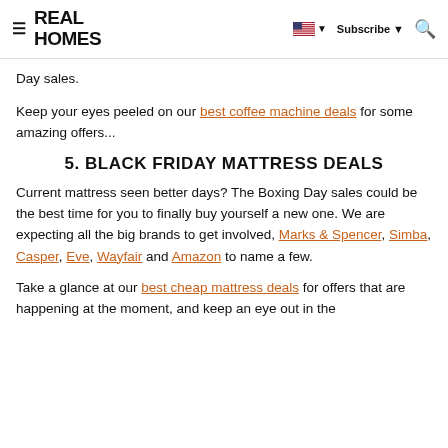REAL HOMES | Subscribe | [flag] [search]
Day sales.
Keep your eyes peeled on our best coffee machine deals for some amazing offers...
5. BLACK FRIDAY MATTRESS DEALS
Current mattress seen better days? The Boxing Day sales could be the best time for you to finally buy yourself a new one. We are expecting all the big brands to get involved, Marks & Spencer, Simba, Casper, Eve, Wayfair and Amazon to name a few.
Take a glance at our best cheap mattress deals for offers that are happening at the moment, and keep an eye out in the